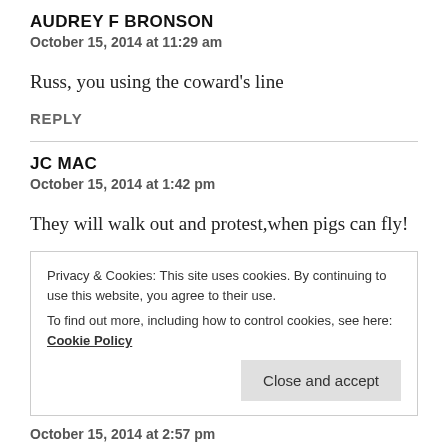AUDREY F BRONSON
October 15, 2014 at 11:29 am
Russ, you using the coward’s line
REPLY
JC MAC
October 15, 2014 at 1:42 pm
They will walk out and protest,when pigs can fly!
Privacy & Cookies: This site uses cookies. By continuing to use this website, you agree to their use.
To find out more, including how to control cookies, see here: Cookie Policy
Close and accept
October 15, 2014 at 2:57 pm